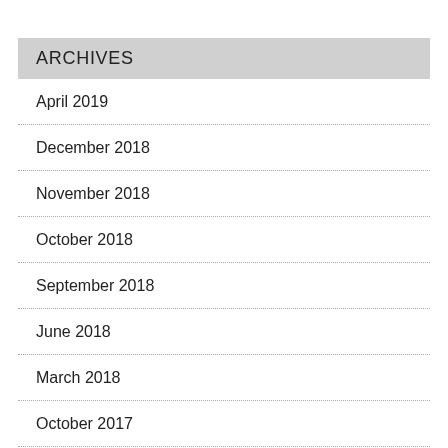ARCHIVES
April 2019
December 2018
November 2018
October 2018
September 2018
June 2018
March 2018
October 2017
July 2017
March 2017